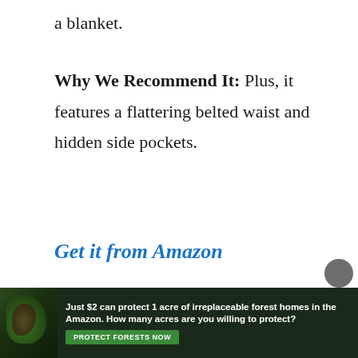a blanket.
Why We Recommend It: Plus, it features a flattering belted waist and hidden side pockets.
Get it from Amazon
[Figure (infographic): Advertisement banner: forest/Amazon conservation ad. Text reads: 'Just $2 can protect 1 acre of irreplaceable forest homes in the Amazon. How many acres are you willing to protect?' with a green 'PROTECT FORESTS NOW' button.]